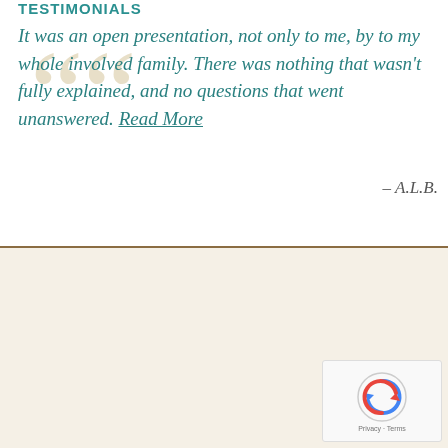TESTIMONIALS
It was an open presentation, not only to me, by to my whole involved family. There was nothing that wasn't fully explained, and no questions that went unanswered. Read More
– A.L.B.
UPCOMING EVENTS
[events_calendar]